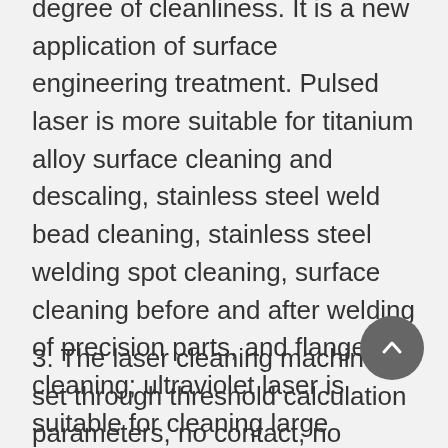degree of cleanliness. It is a new application of surface engineering treatment. Pulsed laser is more suitable for titanium alloy surface cleaning and descaling, stainless steel weld bead cleaning, stainless steel welding spot cleaning, surface cleaning before and after welding of precision parts, and flange cleaning; ultraviolet laser is suitable for cleaning large components.
3. The laser cleaning machine is set through threshold calculation parameters, no contact, no grinding, no thermal effect